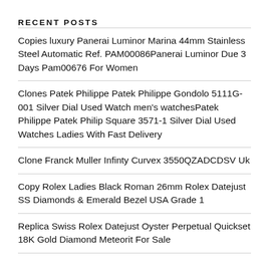RECENT POSTS
Copies luxury Panerai Luminor Marina 44mm Stainless Steel Automatic Ref. PAM00086Panerai Luminor Due 3 Days Pam00676 For Women
Clones Patek Philippe Patek Philippe Gondolo 5111G-001 Silver Dial Used Watch men's watchesPatek Philippe Patek Philip Square 3571-1 Silver Dial Used Watches Ladies With Fast Delivery
Clone Franck Muller Infinty Curvex 3550QZADCDSV Uk
Copy Rolex Ladies Black Roman 26mm Rolex Datejust SS Diamonds & Emerald Bezel USA Grade 1
Replica Swiss Rolex Datejust Oyster Perpetual Quickset 18K Gold Diamond Meteorit For Sale